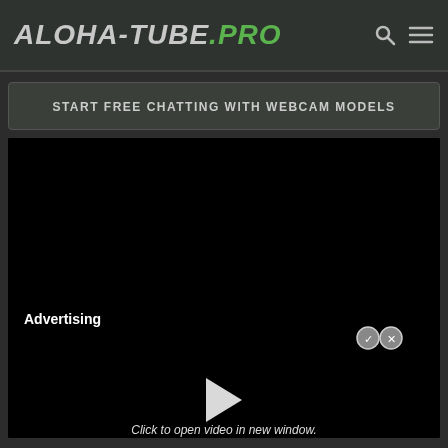ALOHA-TUBE.PRO
START FREE CHATTING WITH WEBCAM MODELS
[Figure (screenshot): Black video player area with 'Advertising' label, two small circular icons (check and X), a play button triangle, and text 'Click to open video in new window.']